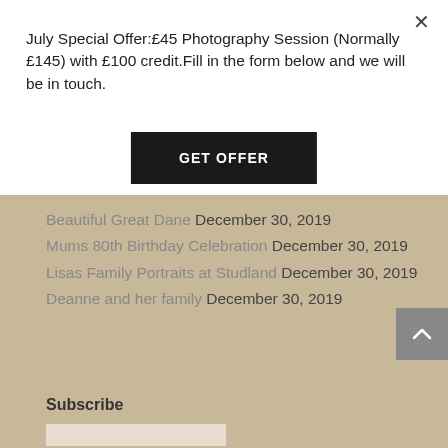July Special Offer:£45 Photography Session (Normally £145) with £100 credit.Fill in the form below and we will be in touch.
GET OFFER
Beautiful Great Dane December 30, 2019
Mums 80th Birthday Celebration December 30, 2019
Lisas Family Portraits at Studland December 30, 2019
Deanne and her family December 30, 2019
Subscribe